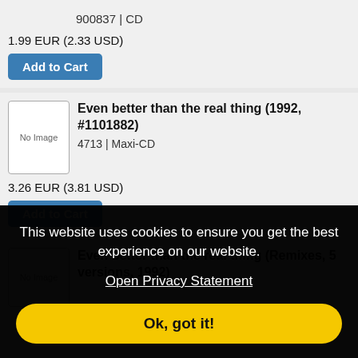900837 | CD
1.99 EUR (2.33 USD)
Add to Cart
[Figure (other): No Image placeholder box]
Even better than the real thing (1992, #1101882)
4713 | Maxi-CD
3.26 EUR (3.81 USD)
Add to Cart
[Figure (other): No Image placeholder box]
Even better than the real thing (Remixes, 5 versions, 1992)
This website uses cookies to ensure you get the best experience on our website.
Open Privacy Statement
Ok, got it!
Add to Cart